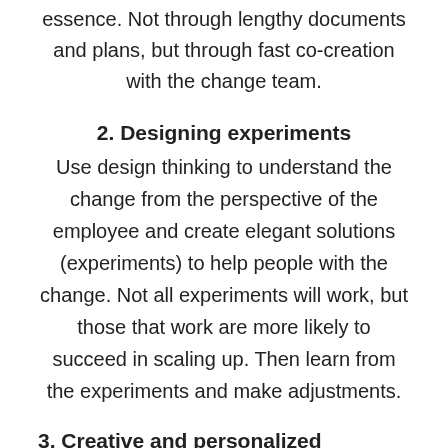essence. Not through lengthy documents and plans, but through fast co-creation with the change team.
2. Designing experiments
Use design thinking to understand the change from the perspective of the employee and create elegant solutions (experiments) to help people with the change. Not all experiments will work, but those that work are more likely to succeed in scaling up. Then learn from the experiments and make adjustments.
3. Creative and personalized communication
Change often does not take place because people are not or insufficiently informed about the what and